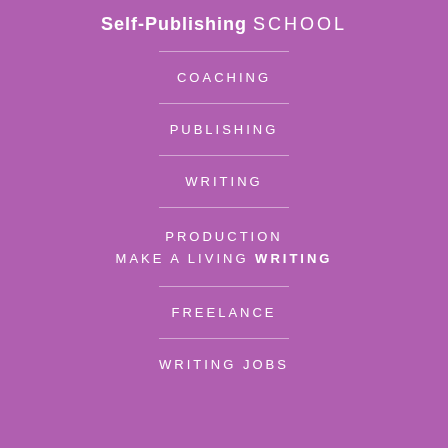Self-Publishing SCHOOL
COACHING
PUBLISHING
WRITING
PRODUCTION
MAKE A LIVING WRITING
FREELANCE
WRITING JOBS